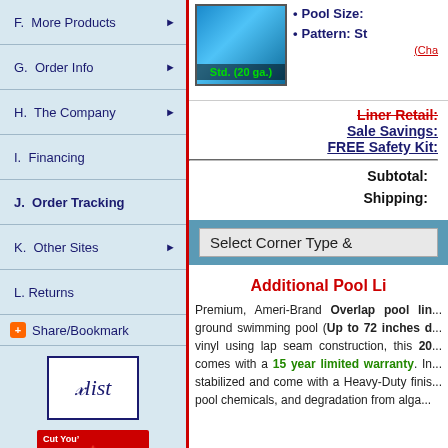F.  More Products
G.  Order Info
H.  The Company
I.  Financing
J.  Order Tracking
K.  Other Sites
L. Returns
Share/Bookmark
[Figure (logo): 5list logo widget]
[Figure (logo): Cut Your Shipping Costs Canada flag widget]
[Figure (logo): International Orders eBay widget]
[Figure (photo): Pool liner image labeled Std. (20 ga.)]
Pool Size:
Pattern: St...
(Cha...
Liner Retail:
Sale Savings:
FREE Safety Kit:
Subtotal:
Shipping:
Select Corner Type &
Additional Pool Li...
Premium, Ameri-Brand Overlap pool lin... ground swimming pool (Up to 72 inches d... vinyl using lap seam construction, this 20... comes with a 15 year limited warranty. In... stabilized and come with a Heavy-Duty finis... pool chemicals, and degradation from alga...